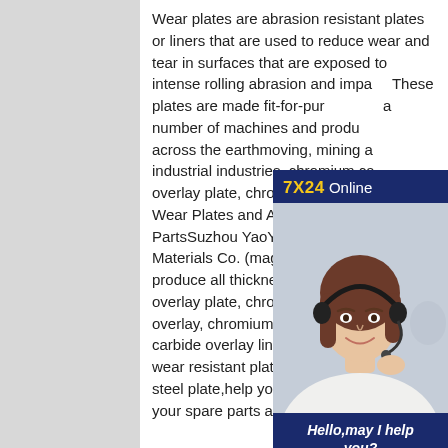Wear plates are abrasion resistant plates or liners that are used to reduce wear and tear in surfaces that are exposed to intense rolling abrasion and impact. These plates are made fit-for-purpose for a number of machines and products used across the earthmoving, mining and industrial industries. chromium carbide overlay plate, chromium carbide wear Wear Plates and Abrasion Resistant PartsSuzhou YaoYu Wear Resistant Materials Co. (maggiema03@163...) produce all thickness of chromium carbide overlay plate, chromium carbide weld overlay, chromium carbide plate, chromium carbide overlay liner, chromium carbide wear resistant plate,abrasion resistant steel plate,help you prolong service life of your spare parts and
[Figure (other): Chat widget overlay showing '7X24 Online' header in dark navy blue, a photo of a female customer service representative wearing a headset, a message 'Hello,may I help you?' in white italic bold text on dark blue background, and a yellow 'Get Latest Price' button.]